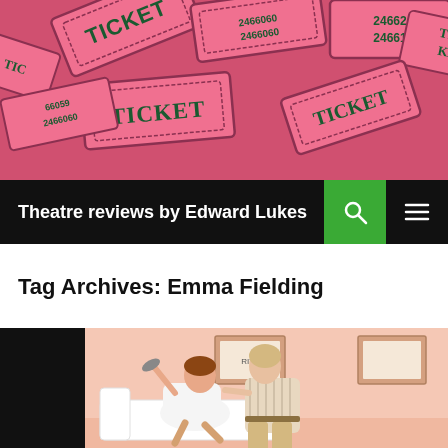[Figure (photo): Pile of pink/red raffle tickets with 'TICKET' text and serial numbers printed on them]
Theatre reviews by Edward Lukes
Tag Archives: Emma Fielding
[Figure (photo): Two women on a pink-walled stage set. One woman in white sits on a sofa holding a shoe aloft, another woman in a striped shirt sits beside her. Framed signs reading 'RITA' visible on the wall.]